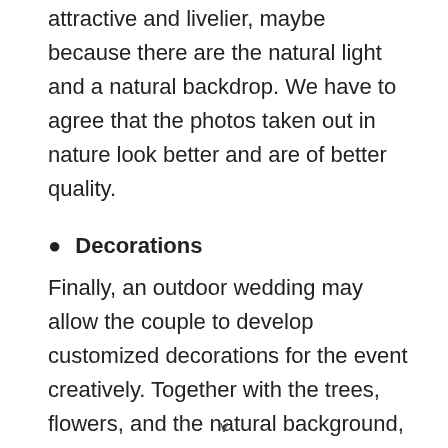attractive and livelier, maybe because there are the natural light and a natural backdrop. We have to agree that the photos taken out in nature look better and are of better quality.
Decorations
Finally, an outdoor wedding may allow the couple to develop customized decorations for the event creatively. Together with the trees, flowers, and the natural background, these individual decorations make the best décor for such an occasion. Using
v